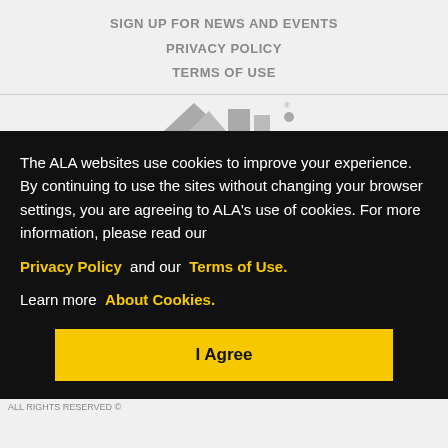SIGN UP FOR NEWS AND EVENTS
PRIVACY POLICY
TERMS OF USE
[Figure (logo): ALA (American Library Association) logo, partially visible]
The ALA websites use cookies to improve your experience. By continuing to use the sites without changing your browser settings, you are agreeing to ALA's use of cookies. For more information, please read our Privacy Policy and our Terms of Use. Learn more About Cookies.
I Agree